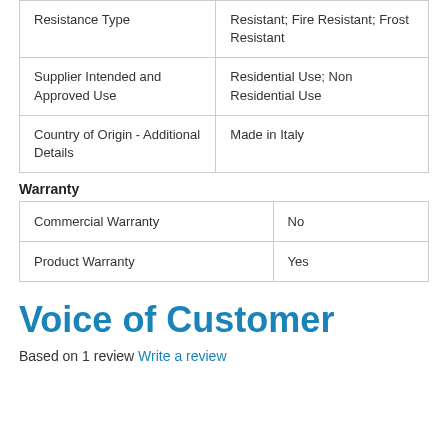| Resistance Type | Resistant; Fire Resistant; Frost Resistant |
| Supplier Intended and Approved Use | Residential Use; Non Residential Use |
| Country of Origin - Additional Details | Made in Italy |
Warranty
| Commercial Warranty | No |
| Product Warranty | Yes |
Voice of Customer
Based on 1 review Write a review